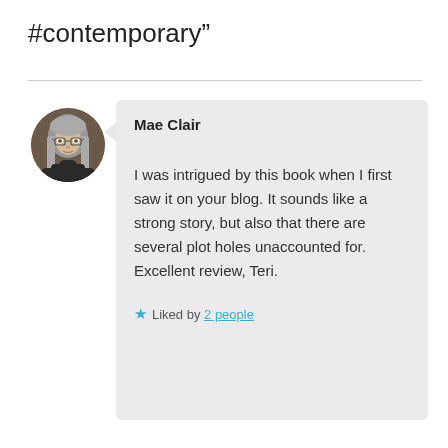#contemporary”
[Figure (photo): Circular avatar photo of Mae Clair, a woman with long grey hair and glasses, wearing a dark turtleneck, shown in an indoor setting.]
Mae Clair
I was intrigued by this book when I first saw it on your blog. It sounds like a strong story, but also that there are several plot holes unaccounted for. Excellent review, Teri.
★ Liked by 2 people